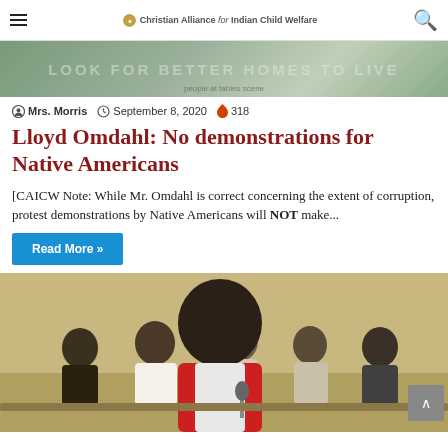Christian Alliance for Indian Child Welfare
[Figure (photo): Banner image with text overlay 'LOOK FOR BETTER HOMES TO LIVE' with muted green tones]
Mrs. Morris  September 8, 2020  318
Lloyd Omdahl: No demonstrations for Native Americans
[CAICW Note: While Mr. Omdahl is correct concerning the extent of corruption, protest demonstrations by Native Americans will NOT make...
Read More »
[Figure (photo): Photograph of a meeting or hearing room with several people seated at tables; one person in a red vest is prominently shown from behind, speaking into a microphone]